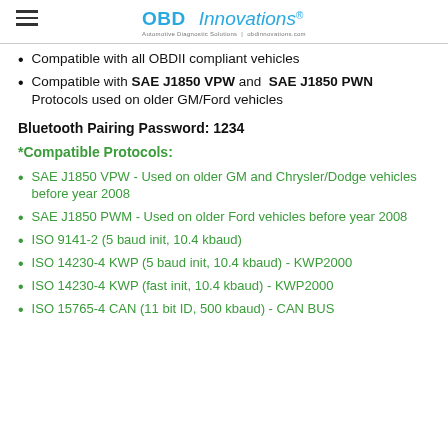OBD Innovations®
Compatible with all OBDII compliant vehicles
Compatible with SAE J1850 VPW and SAE J1850 PWN Protocols used on older GM/Ford vehicles
Bluetooth Pairing Password: 1234
*Compatible Protocols:
SAE J1850 VPW - Used on older GM and Chrysler/Dodge vehicles before year 2008
SAE J1850 PWM - Used on older Ford vehicles before year 2008
ISO 9141-2 (5 baud init, 10.4 kbaud)
ISO 14230-4 KWP (5 baud init, 10.4 kbaud) - KWP2000
ISO 14230-4 KWP (fast init, 10.4 kbaud) - KWP2000
ISO 15765-4 CAN (11 bit ID, 500 kbaud) - CAN BUS